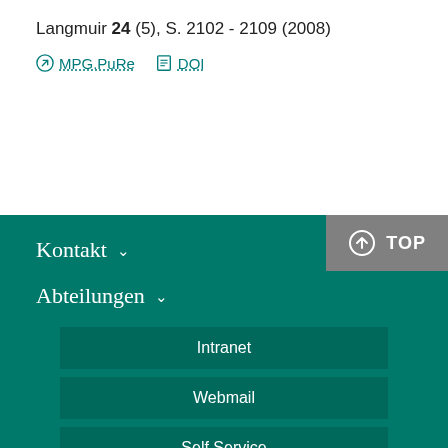Langmuir 24 (5), S. 2102 - 2109 (2008)
MPG.PuRe   DOI
Kontakt  Abteilungen  Intranet  Webmail  Self Service